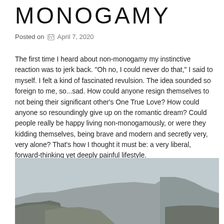MONOGAMY
Posted on  April 7, 2020
The first time I heard about non-monogamy my instinctive reaction was to jerk back. "Oh no, I could never do that," I said to myself. I felt a kind of fascinated revulsion. The idea sounded so foreign to me, so...sad. How could anyone resign themselves to not being their significant other's One True Love? How could anyone so resoundingly give up on the romantic dream? Could people really be happy living non-monogamously, or were they kidding themselves, being brave and modern and secretly very, very alone? That's how I thought it must be: a very liberal, forward-thinking yet deeply painful lifestyle.
[Figure (photo): A misty mountainous landscape with rocky terrain, shrubby vegetation in the foreground and a cliff face in the background under an overcast grey sky.]